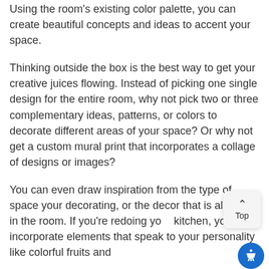Using the room's existing color palette, you can create beautiful concepts and ideas to accent your space.
Thinking outside the box is the best way to get your creative juices flowing. Instead of picking one single design for the entire room, why not pick two or three complementary ideas, patterns, or colors to decorate different areas of your space? Or why not get a custom mural print that incorporates a collage of designs or images?
You can even draw inspiration from the type of space your decorating, or the decor that is already in the room. If you're redoing your kitchen, you can incorporate elements that speak to your personality like colorful fruits and